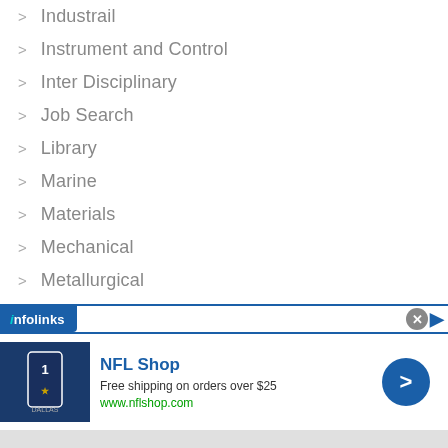Industrail
Instrument and Control
Inter Disciplinary
Job Search
Library
Marine
Materials
Mechanical
Metallurgical
Mining
Ocean (partially visible)
[Figure (screenshot): Infolinks advertisement overlay showing NFL Shop ad with football jersey image, 'Free shipping on orders over $25', www.nflshop.com URL, close button, and navigation arrow.]